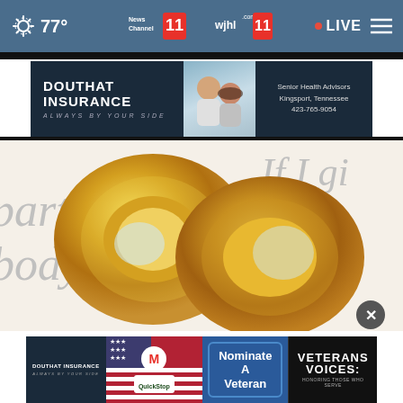77° | News Channel 11 WJHL 11 | LIVE
[Figure (illustration): Douthat Insurance advertisement banner — dark navy background, logo text 'DOUTHAT INSURANCE ALWAYS BY YOUR SIDE', photo of two advisors, text: Senior Health Advisors Kingsport, Tennessee 423-765-9054]
[Figure (photo): Two gold wedding rings resting on an open book with text visible: 'parts, body,' on left and 'If I gi body, gain, Love' on right]
[Figure (infographic): Bottom banner ad: Douthat Insurance, QuickStop, Marathon M logo, Nominate A Veteran button, Veterans Voices: Honoring Those Who Serve]